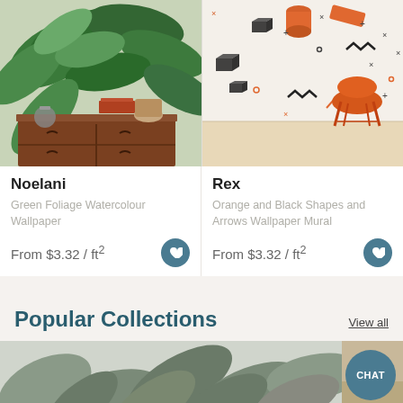[Figure (photo): Noelani - Green Foliage Watercolour Wallpaper showing tropical leaves with wooden dresser]
[Figure (photo): Rex - Orange and Black Shapes and Arrows Wallpaper Mural with orange chair]
Noelani
Green Foliage Watercolour Wallpaper
From $3.32 / ft²
Rex
Orange and Black Shapes and Arrows Wallpaper Mural
From $3.32 / ft²
Popular Collections
View all
[Figure (photo): Partial bottom image showing grey-green foliage wallpaper]
CHAT